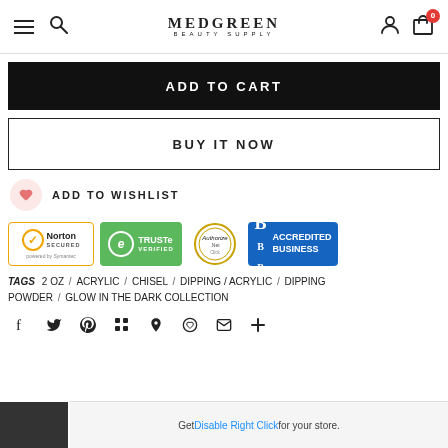MEDGREEN BEAUTY SUPPLY
ADD TO CART
BUY IT NOW
ADD TO WISHLIST
[Figure (logo): Trust badges: Norton Secured powered by Symantec, TRUSTe Verified, Authorize.Net, BBB Accredited Business]
TAGS  2 oz / ACRYLIC / CHISEL / DIPPING / ACRYLIC / DIPPING POWDER / GLOW IN THE DARK COLLECTION
Social sharing icons: Facebook, Twitter, Pinterest, Grid, Bookmark, Heart, Email, Plus
Get Disable Right Click for your store.